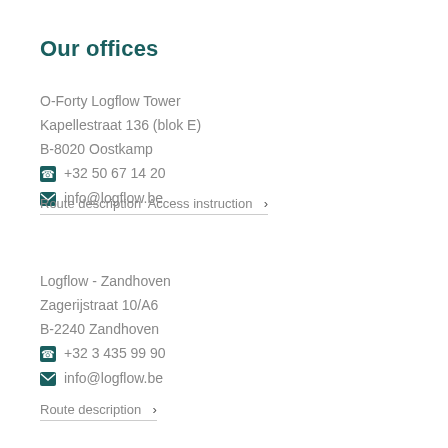Our offices
O-Forty Logflow Tower
Kapellestraat 136 (blok E)
B-8020 Oostkamp
+32 50 67 14 20
info@logflow.be
Route description Access instruction
Logflow - Zandhoven
Zagerijstraat 10/A6
B-2240 Zandhoven
+32 3 435 99 90
info@logflow.be
Route description